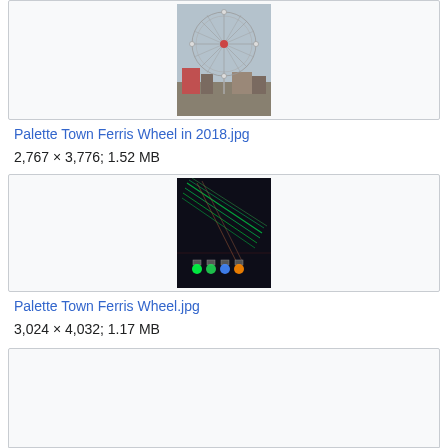[Figure (photo): Photo of a Ferris wheel (Palette Town Ferris Wheel) against a grey sky, with buildings and a crowd below.]
Palette Town Ferris Wheel in 2018.jpg
2,767 × 3,776; 1.52 MB
[Figure (photo): Close-up photo of colorful LED lights (green, blue, orange, red) with wires against a dark background, resembling Ferris wheel lighting fixtures.]
Palette Town Ferris Wheel.jpg
3,024 × 4,032; 1.17 MB